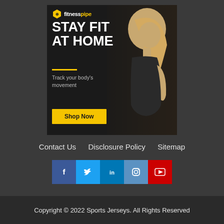[Figure (infographic): FitnessPipe ad banner: dark background with a fitness model (blonde woman in black sports bra, side profile). Large bold white text 'STAY FIT AT HOME', yellow divider line, subtext 'Track your body's movement', yellow 'Shop Now' button. Logo top-left shows hexagon icon and 'fitnesspipe' text.]
Contact Us   Disclosure Policy   Sitemap
[Figure (infographic): Social media icon row: Facebook (dark blue), Twitter (light blue), LinkedIn (blue), Instagram (medium blue), YouTube (red). Each a square icon with white symbol.]
Copyright © 2022 Sports Jerseys. All Rights Reserved